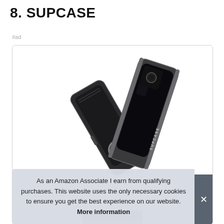8. SUPCASE
#ad
[Figure (photo): A SUPCASE phone case product image showing two black phone cases opened at a V-shape angle, with the SUPCASE logo visible on the side, and a ring/kickstand accessory.]
As an Amazon Associate I earn from qualifying purchases. This website uses the only necessary cookies to ensure you get the best experience on our website. More information